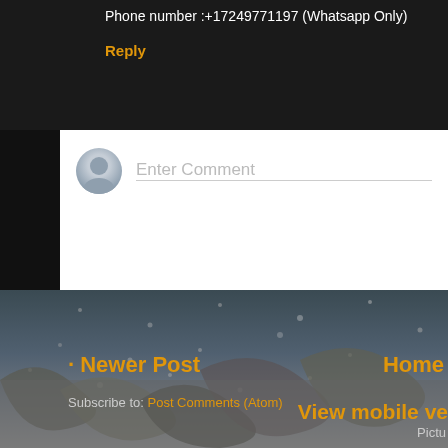Phone number :+17249771197 (Whatsapp Only)
Reply
Enter Comment
Newer Post
Home
View mobile ve
Subscribe to: Post Comments (Atom)
Pictu